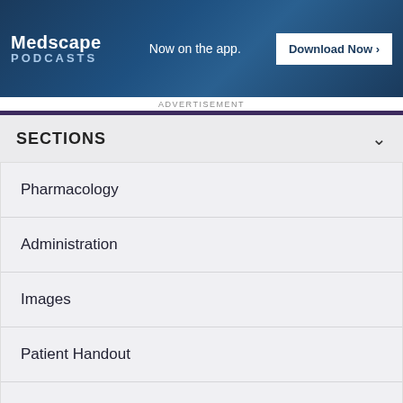[Figure (screenshot): Medscape Podcasts advertisement banner — blue background with Medscape Podcasts logo, 'Now on the app.' tagline, and 'Download Now >' button]
ADVERTISEMENT
SECTIONS
Pharmacology
Administration
Images
Patient Handout
Formulary
What to Read Next on